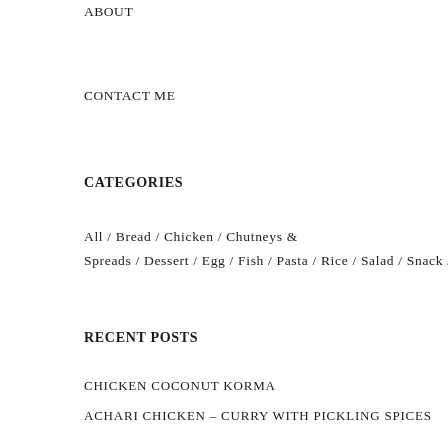ABOUT
CONTACT ME
CATEGORIES
All / Bread / Chicken / Chutneys & Spreads / Dessert / Egg / Fish / Pasta / Rice / Salad / Snack / Vegan / Vegetarian
RECENT POSTS
CHICKEN COCONUT KORMA
ACHARI CHICKEN – CURRY WITH PICKLING SPICES
SUGARFREE BANANA BREAD
JUJEH KEBAB | PERSIAN SAFFRON CHICKEN SKEWERS